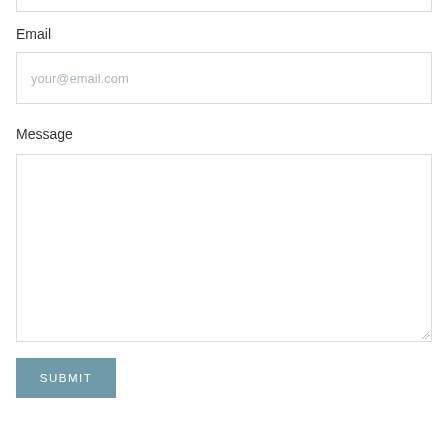Email
your@email.com
Message
SUBMIT